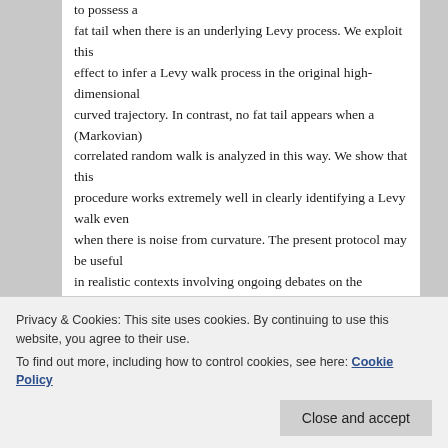to possess a fat tail when there is an underlying Levy process. We exploit this effect to infer a Levy walk process in the original high-dimensional curved trajectory. In contrast, no fat tail appears when a (Markovian) correlated random walk is analyzed in this way. We show that this procedure works extremely well in clearly identifying a Levy walk even when there is noise from curvature. The present protocol may be useful in realistic contexts involving ongoing debates on the presence (or
(Viswanathan, G. M.): da
Privacy & Cookies: This site uses cookies. By continuing to use this website, you agree to their use.
To find out more, including how to control cookies, see here: Cookie Policy